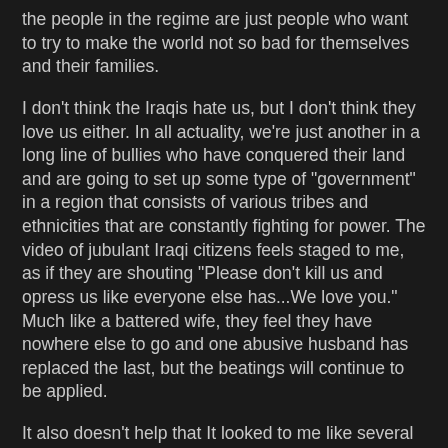the people in the regime are just people who want to try to make the world not so bad for themselves and their families.
I don't think the Iraqis hate us, but I don't think they love us either. In all actuality, we're just another in a long line of bullies who have conquered their land and are going to set up some type of "government" in a region that consists of various tribes and ethnicities that are constantly fighting for power. The video of jubulant Iraqi citizens feels staged to me, as if they are shouting "Please don't kill us and opress us like everyone else has...We love you." Much like a battered wife, they feel they have nowhere else to go and one abusive husband has replaced the last, but the beatings will continue to be applied.
It also doesn't help that It looked to me like several of the moments relayed on CNN looked staged for the cameras, such as the burning of one image of Saddam, where a man looked like he waited until the camera man was ready before lighting and hurling his molatov cocktail.
We can topple one regime, but the real challenge is keeping